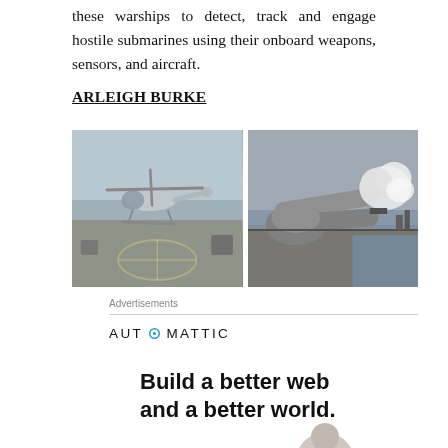these warships to detect, track and engage hostile submarines using their onboard weapons, sensors, and aircraft.
ARLEIGH BURKE
[Figure (photo): Left: Military helicopter landing on a ship deck at sea. Right: Naval gun turret firing with smoke visible, ocean in background.]
Advertisements
[Figure (logo): Automattic logo with stylized letter O in the word AUTOMATTIC]
Build a better web and a better world.